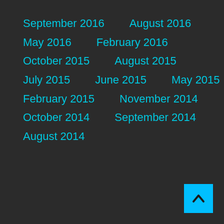September 2016
August 2016
May 2016
February 2016
October 2015
August 2015
July 2015
June 2015
May 2015
February 2015
November 2014
October 2014
September 2014
August 2014